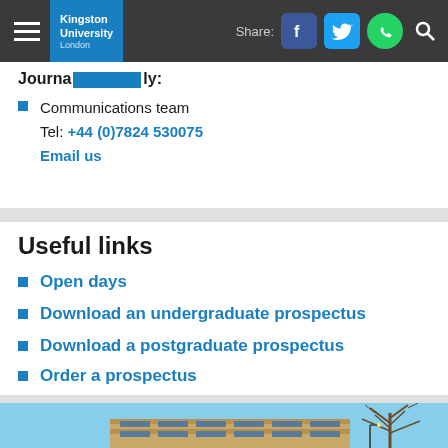Kingston University London — navigation bar with hamburger menu, logo, Share label, Facebook, Twitter, WhatsApp, Search icons
Journalist enquiries only:
Communications team
Tel: +44 (0)7824 530075
Email us
Useful links
Open days
Download an undergraduate prospectus
Download a postgraduate prospectus
Order a prospectus
[Figure (photo): Exterior photo of a modern university building with brick facade and large windows, bare trees in background against blue sky]